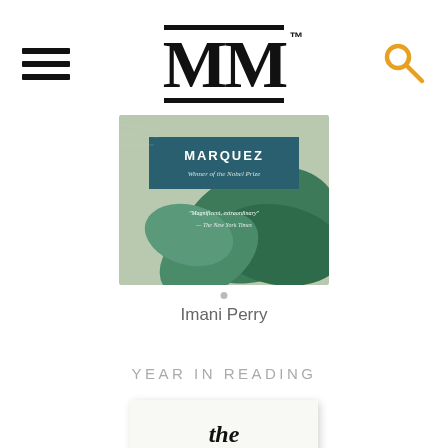MM (The Millions logo)
[Figure (photo): Book cover for a Marquez novel - teal and green tropical leaf design with author name banner at top]
Imani Perry
YEAR IN READING
[Figure (photo): Book cover for The Goldfinch by Donna Tartt - white cover with script title and bird imagery, Pulitzer Prize winner medallion]